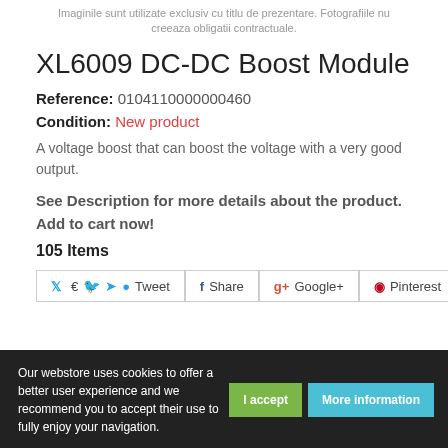Imaginile sunt utilizate exclusiv cu titlu de prezentare. Fotografiile nu creeaza obligatii contractuale.
XL6009 DC-DC Boost Module
Reference: 0104110000000460
Condition: New product
A voltage boost that can boost the voltage with a very good output.
See Description for more details about the product.
Add to cart now!
105 Items
Tweet  Share  Google+  Pinterest
Our webstore uses cookies to offer a better user experience and we recommend you to accept their use to fully enjoy your navigation.
I accept  More information